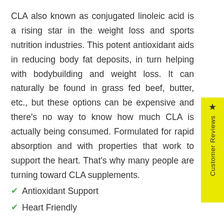CLA also known as conjugated linoleic acid is a rising star in the weight loss and sports nutrition industries. This potent antioxidant aids in reducing body fat deposits, in turn helping with bodybuilding and weight loss. It can naturally be found in grass fed beef, butter, etc., but these options can be expensive and there's no way to know how much CLA is actually being consumed. Formulated for rapid absorption and with properties that work to support the heart. That's why many people are turning toward CLA supplements.
Antioxidant Support
Heart Friendly